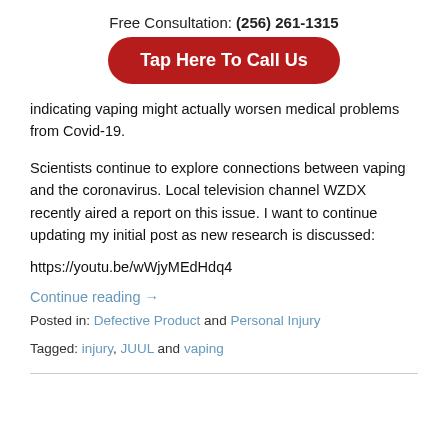Free Consultation: (256) 261-1315
Tap Here To Call Us
indicating vaping might actually worsen medical problems from Covid-19.
Scientists continue to explore connections between vaping and the coronavirus. Local television channel WZDX recently aired a report on this issue. I want to continue updating my initial post as new research is discussed:
https://youtu.be/wWjyMEdHdq4
Continue reading →
Posted in: Defective Product and Personal Injury
Tagged: injury, JUUL and vaping